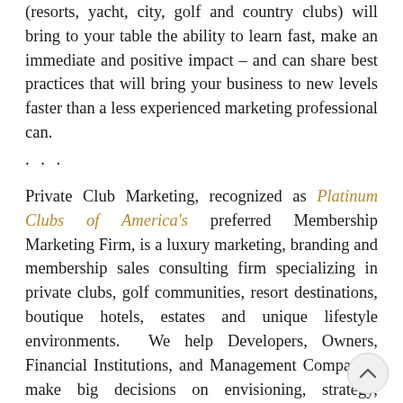(resorts, yacht, city, golf and country clubs) will bring to your table the ability to learn fast, make an immediate and positive impact – and can share best practices that will bring your business to new levels faster than a less experienced marketing professional can.
···
Private Club Marketing, recognized as Platinum Clubs of America's preferred Membership Marketing Firm, is a luxury marketing, branding and membership sales consulting firm specializing in private clubs, golf communities, resort destinations, boutique hotels, estates and unique lifestyle environments. We help Developers, Owners, Financial Institutions, and Management Companies make big decisions on envisioning, strategy, marketing, sales, and organization.